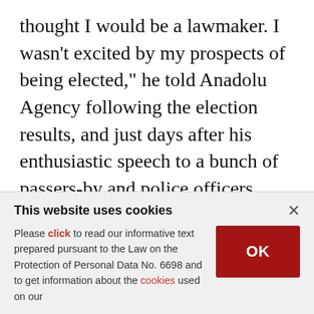thought I would be a lawmaker. I wasn't excited by my prospects of being elected," he told Anadolu Agency following the election results, and just days after his enthusiastic speech to a bunch of passers-by and police officers present for security made waves in the country.

"I thank everyone who voted for me. What matters is that people should not forget what I said in my rally. I would start a revolution if I won. In the end,
This website uses cookies
Please click to read our informative text prepared pursuant to the Law on the Protection of Personal Data No. 6698 and to get information about the cookies used on our